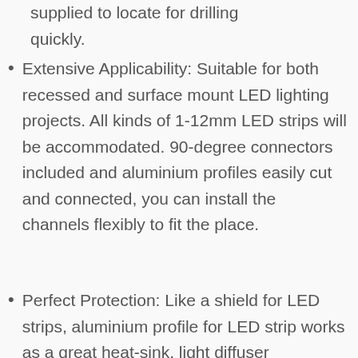supplied to locate for drilling quickly.
Extensive Applicability: Suitable for both recessed and surface mount LED lighting projects. All kinds of 1-12mm LED strips will be accommodated. 90-degree connectors included and aluminium profiles easily cut and connected, you can install the channels flexibly to fit the place.
Perfect Protection: Like a shield for LED strips, aluminium profile for LED strip works as a great heat-sink, light diffuser